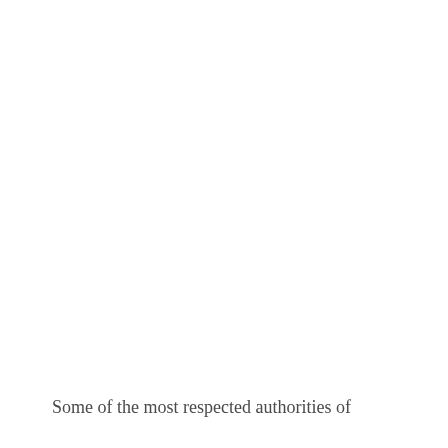Some of the most respected authorities of